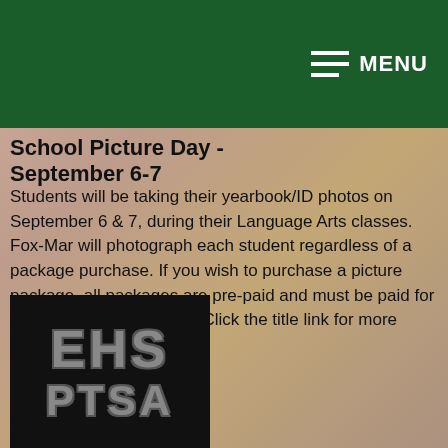MENU
School Picture Day - September 6-7
Students will be taking their yearbook/ID photos on September 6 & 7, during their Language Arts classes. Fox-Mar will photograph each student regardless of a package purchase. If you wish to purchase a picture package, all packages are pre-paid and must be paid for on or before Picture Day. Click the title link for more information.
[Figure (logo): EHS PTSA logo — black rectangle with large grey block letters EHS on top and PTSA below]